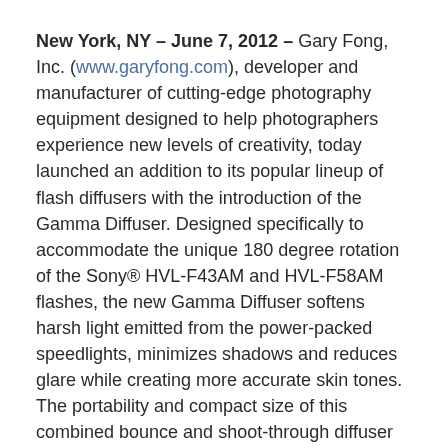New York, NY – June 7, 2012 – Gary Fong, Inc. (www.garyfong.com), developer and manufacturer of cutting-edge photography equipment designed to help photographers experience new levels of creativity, today launched an addition to its popular lineup of flash diffusers with the introduction of the Gamma Diffuser. Designed specifically to accommodate the unique 180 degree rotation of the Sony® HVL-F43AM and HVL-F58AM flashes, the new Gamma Diffuser softens harsh light emitted from the power-packed speedlights, minimizes shadows and reduces glare while creating more accurate skin tones. The portability and compact size of this combined bounce and shoot-through diffuser make it a perfect solution for event photography, portraits, interiors and product shots.
The Gamma Diffuser is an ideal tool for photographers of all skill levels looking to create